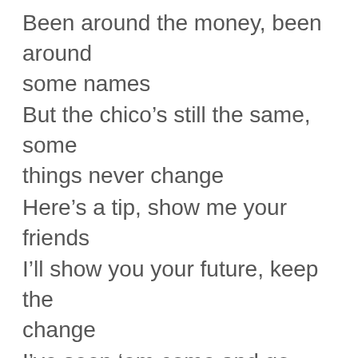Been around the money, been around some names
But the chico's still the same, some things never change
Here's a tip, show me your friends
I'll show you your future, keep the change
I've seen 'em come and go, I've seen 'em sell they souls
You my number one draft pick, baby, let's pick and roll
I always keep you up, up on a pedestal
Misery loves company, baby don't sweat